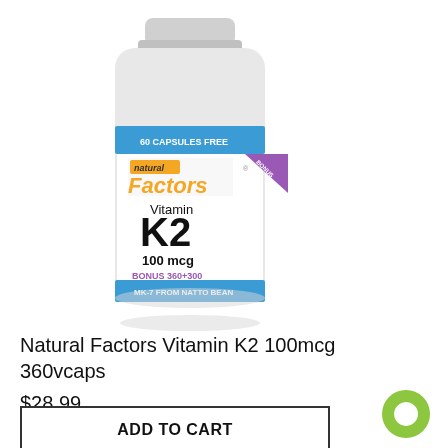[Figure (photo): Natural Factors Vitamin K2 100mcg supplement bottle, white with blue and yellow label, 360+60 bonus vegetarian capsules, MK-7 from Natto Bean]
Natural Factors Vitamin K2 100mcg 360vcaps
$28.99
ADD TO CART